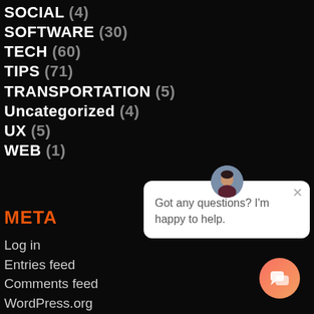SOCIAL (4)
SOFTWARE (30)
TECH (60)
TIPS (71)
TRANSPORTATION (5)
Uncategorized (4)
UX (5)
WEB (1)
META
Log in
Entries feed
Comments feed
WordPress.org
[Figure (infographic): Chat popup with avatar photo of a woman, close (x) button, and message: Got any questions? I'm happy to help.]
[Figure (infographic): Orange-pink gradient circular chat button with speech bubble icon]